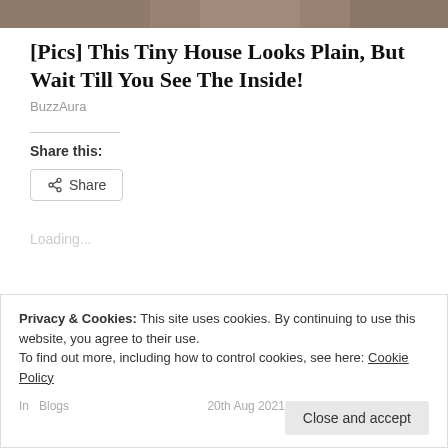[Figure (photo): Partial image of a tiny house exterior, cropped strip at top of page]
[Pics] This Tiny House Looks Plain, But Wait Till You See The Inside!
BuzzAura
Share this:
Loading...
Privacy & Cookies: This site uses cookies. By continuing to use this website, you agree to their use.
To find out more, including how to control cookies, see here: Cookie Policy
In  Blogs    20th Aug 2021